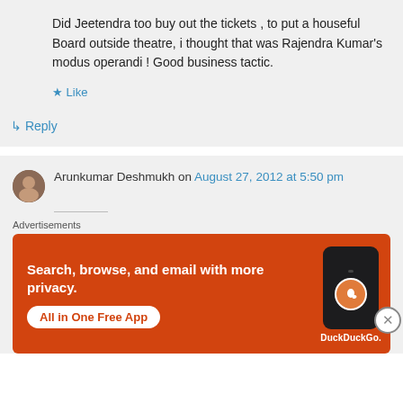Did Jeetendra too buy out the tickets , to put a houseful Board outside theatre, i thought that was Rajendra Kumar's modus operandi ! Good business tactic.
★ Like
↳ Reply
Arunkumar Deshmukh on August 27, 2012 at 5:50 pm
Advertisements
[Figure (infographic): DuckDuckGo advertisement banner with orange background. Text: Search, browse, and email with more privacy. All in One Free App. Shows a phone with DuckDuckGo logo.]